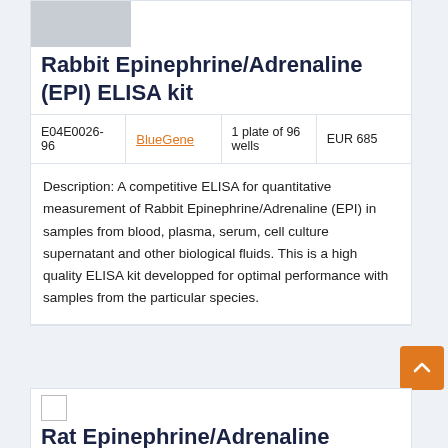[Figure (photo): Gray placeholder image for product photo]
Rabbit Epinephrine/Adrenaline (EPI) ELISA kit
| Catalog | Brand | Size | Price |
| --- | --- | --- | --- |
| E04E0026-96 | BlueGene | 1 plate of 96 wells | EUR 685 |
Description: A competitive ELISA for quantitative measurement of Rabbit Epinephrine/Adrenaline (EPI) in samples from blood, plasma, serum, cell culture supernatant and other biological fluids. This is a high quality ELISA kit developped for optimal performance with samples from the particular species.
[Figure (photo): Gray placeholder image for second product]
Rat Epinephrine/Adrenaline